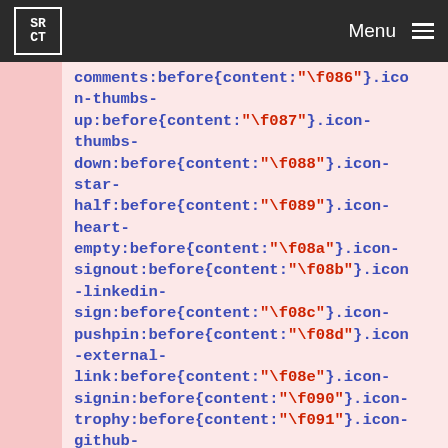SRCT  Menu
comments:before{content:"\f086"}.icon-thumbs-up:before{content:"\f087"}.icon-thumbs-down:before{content:"\f088"}.icon-star-half:before{content:"\f089"}.icon-heart-empty:before{content:"\f08a"}.icon-signout:before{content:"\f08b"}.icon-linkedin-sign:before{content:"\f08c"}.icon-pushpin:before{content:"\f08d"}.icon-external-link:before{content:"\f08e"}.icon-signin:before{content:"\f090"}.icon-trophy:before{content:"\f091"}.icon-github-sign:before{content:"\f092"}.icon-upload-